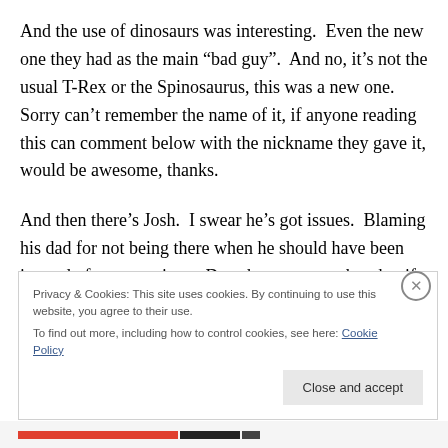And the use of dinosaurs was interesting.  Even the new one they had as the main “bad guy”.  And no, it’s not the usual T-Rex or the Spinosaurus, this was a new one.  Sorry can’t remember the name of it, if anyone reading this can comment below with the nickname they gave it, would be awesome, thanks.
And then there’s Josh.  I swear he’s got issues.  Blaming his dad for not being there when he should have been instead of sent to prison.  Does he not remember that if his dad didn’t do what he done, that he would have lost his
Privacy & Cookies: This site uses cookies. By continuing to use this website, you agree to their use.
To find out more, including how to control cookies, see here: Cookie Policy